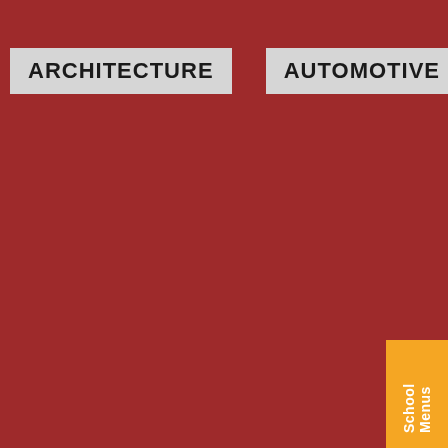ARCHITECTURE
AUTOMOTIVE
COSMETOLOGY
CULINARY
School Menus